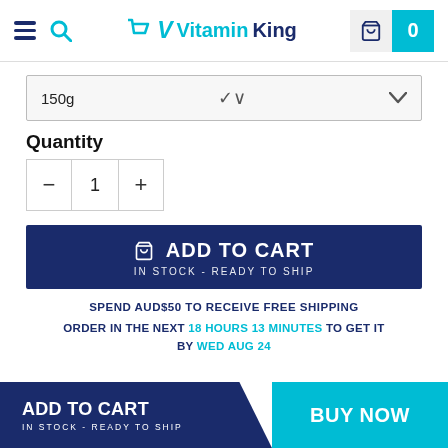VitaminKing
150g
Quantity
- 1 +
ADD TO CART
IN STOCK - READY TO SHIP
SPEND AUD$50 TO RECEIVE FREE SHIPPING
ORDER IN THE NEXT 18 HOURS 13 MINUTES TO GET IT BY WED AUG 24
ADD TO CART IN STOCK - READY TO SHIP | BUY NOW